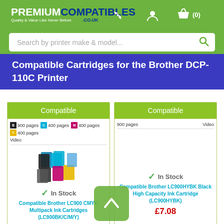PREMIUMCOMPATIBLES.CO.UK — Quality & Value Like Never Before — Search by printer make & model...
Compatible Cartridges for the Brother DCP-110C Printer
Compatible | 900 pages (Black), 400 pages (Cyan), 400 pages (Magenta), 400 pages (Yellow) | Video | In Stock | Compatible Brother LC900 CMYK Multipack Ink Cartridges (LC900BK/C/M/Y)
Compatible | 900 pages | Video | In Stock | Compatible Brother LC900HYBK Black High Capacity Ink Cartridge (LC900HYBK) | £7.08